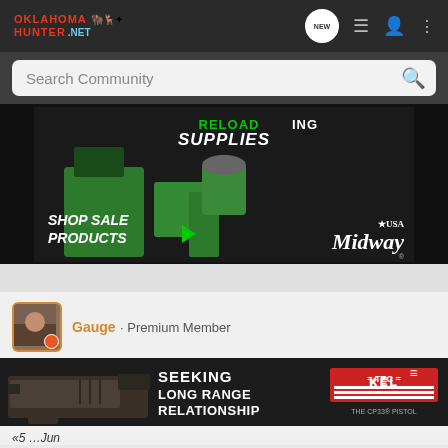OklahomaHunter.NET - navigation bar with NEW, list, user, and menu icons
Search Community
[Figure (photo): MidwayUSA advertisement for Reloading Supplies - shows reloading press equipment in green, with text RELOADING SUPPLIES, SHOP SALE PRODUCTS, and MidwayUSA logo]
Gauge · Premium Member
[Figure (photo): Kel-Tec CP33 pistol advertisement - SEEKING LONG RANGE RELATIONSHIP with KEL-TEC logo and THE CP33 PISTOL text]